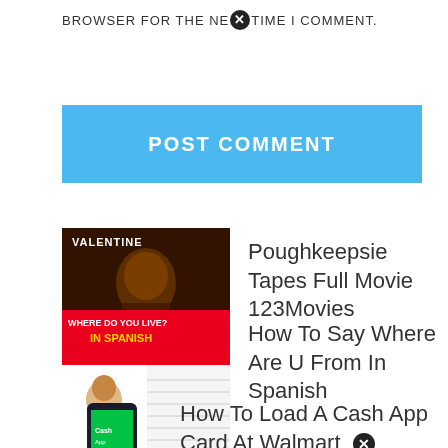BROWSER FOR THE NEXT TIME I COMMENT.
POST COMMENT
Poughkeepsie Tapes Full Movie 123Movies
How To Say Where Are U From In Spanish
How To Load A Cash App Card At Walmart